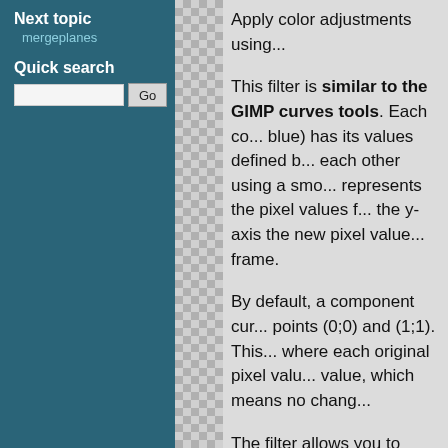Next topic
mergeplanes
Quick search
Apply color adjustments using...
This filter is similar to the GIMP curves tools. Each co... blue) has its values defined b... each other using a smo... represents the pixel values f... the y-axis the new pixel value... frame.
By default, a component cur... points (0;0) and (1;1). This... where each original pixel valu... value, which means no chang...
The filter allows you to rede... add some more. A new curv... spline interpolation) will be... through all these new coord... points needs to be strictly in... and their x and y values must... the computed curves happ...